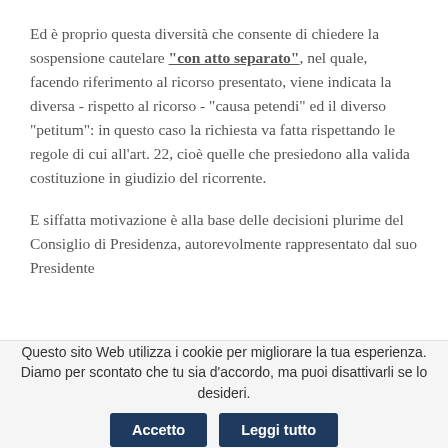Ed è proprio questa diversità che consente di chiedere la sospensione cautelare "con atto separato", nel quale, facendo riferimento al ricorso presentato, viene indicata la diversa - rispetto al ricorso - "causa petendi" ed il diverso "petitum": in questo caso la richiesta va fatta rispettando le regole di cui all'art. 22, cioè quelle che presiedono alla valida costituzione in giudizio del ricorrente.
E siffatta motivazione è alla base delle decisioni plurime del Consiglio di Presidenza, autorevolmente rappresentato dal suo Presidente
Questo sito Web utilizza i cookie per migliorare la tua esperienza. Diamo per scontato che tu sia d'accordo, ma puoi disattivarli se lo desideri.